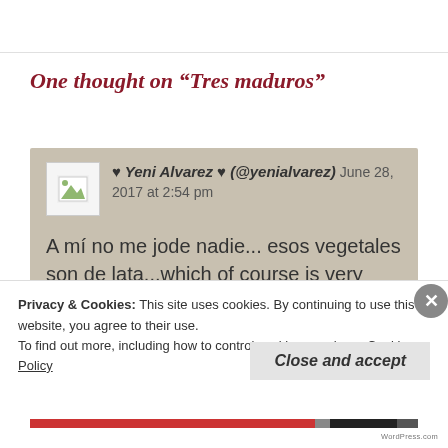One thought on “Tres maduros”
♥ Yeni Alvarez ♥ (@yenialvarez) June 28, 2017 at 2:54 pm
A mí no me jode nadie... esos vegetales son de lata...which of course is very Cuban too, I remember heating them ‘en la microway’ with a
Privacy & Cookies: This site uses cookies. By continuing to use this website, you agree to their use.
To find out more, including how to control cookies, see here: Cookie Policy
Close and accept